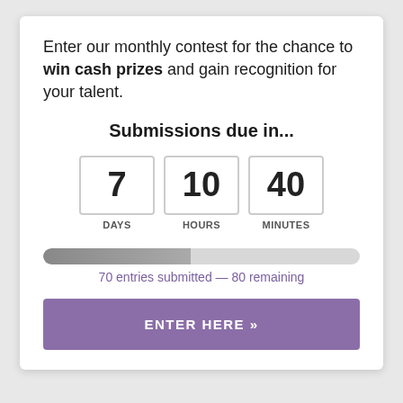Enter our monthly contest for the chance to win cash prizes and gain recognition for your talent.
Submissions due in...
[Figure (infographic): Countdown timer showing 7 DAYS, 10 HOURS, 40 MINUTES in bordered boxes]
[Figure (infographic): Progress bar showing approximately 46.7% filled (grey gradient), with text: 70 entries submitted — 80 remaining]
70 entries submitted — 80 remaining
ENTER HERE »